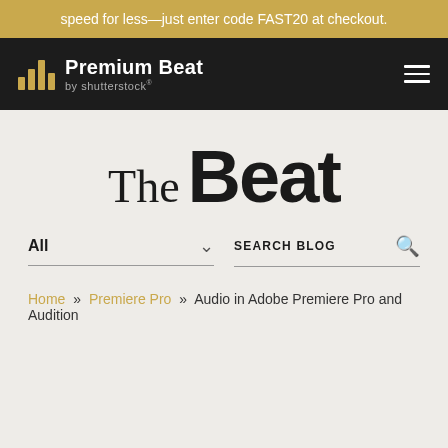speed for less—just enter code FAST20 at checkout.
[Figure (logo): PremiumBeat by Shutterstock logo with gold bar chart icon and white text on black background]
The Beat
All  ∨    SEARCH BLOG  🔍
Home » Premiere Pro » Audio in Adobe Premiere Pro and Audition